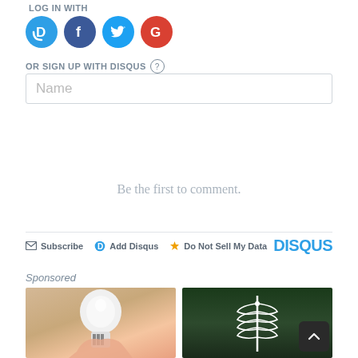LOG IN WITH
[Figure (logo): Four social login icons: Disqus (blue D), Facebook (dark blue f), Twitter (light blue bird), Google (red G)]
OR SIGN UP WITH DISQUS ?
Name (input field placeholder)
Be the first to comment.
Subscribe  Add Disqus  Do Not Sell My Data  DISQUS
Sponsored
[Figure (photo): Two sponsored advertisement images side by side: left shows a hand holding a light bulb camera device, right shows a white wind turbine sculpture against trees]